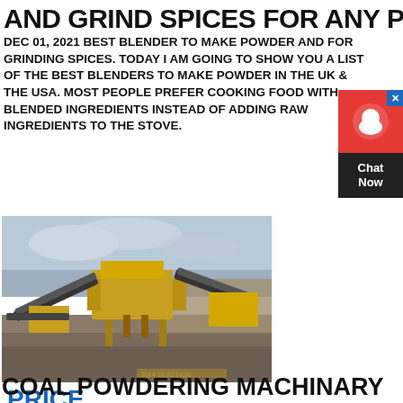AND GRIND SPICES FOR ANY PRICE
DEC 01, 2021 BEST BLENDER TO MAKE POWDER AND FOR GRINDING SPICES. TODAY I AM GOING TO SHOW YOU A LIST OF THE BEST BLENDERS TO MAKE POWDER IN THE UK & THE USA. MOST PEOPLE PREFER COOKING FOOD WITH BLENDED INGREDIENTS INSTEAD OF ADDING RAW INGREDIENTS TO THE STOVE.
GET PRICE
[Figure (photo): Yellow/orange industrial coal crushing and powdering machinery at an outdoor mining site with conveyor belts and hoppers, cloudy sky in background]
COAL POWDERING MACHINARY